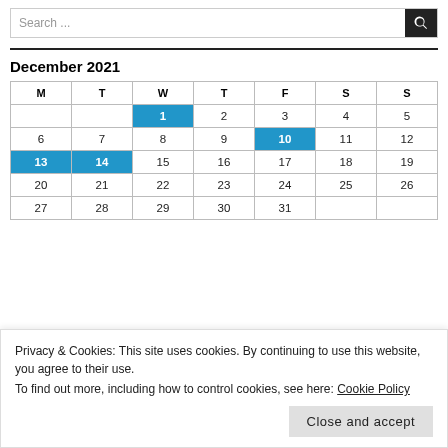Search ...
December 2021
| M | T | W | T | F | S | S |
| --- | --- | --- | --- | --- | --- | --- |
|  |  | 1 | 2 | 3 | 4 | 5 |
| 6 | 7 | 8 | 9 | 10 | 11 | 12 |
| 13 | 14 | 15 | 16 | 17 | 18 | 19 |
| 20 | 21 | 22 | 23 | 24 | 25 | 26 |
| 27 | 28 | 29 | 30 | 31 |  |  |
Privacy & Cookies: This site uses cookies. By continuing to use this website, you agree to their use.
To find out more, including how to control cookies, see here: Cookie Policy
Close and accept